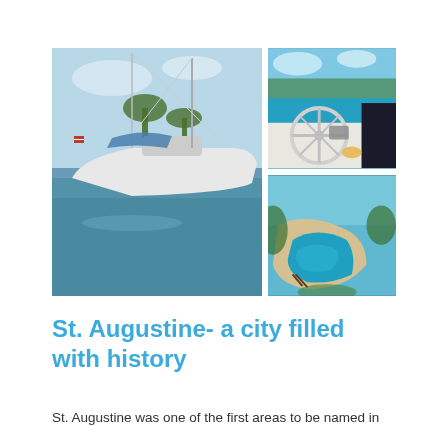[Figure (photo): Collage of three sailing/coastal photos: large left photo of a white sailboat moored in calm water with palm trees and blue sky; top-right photo of a sailboat deck and steering wheel with tropical turquoise water and trees; bottom-right aerial photo of a curved sandy beach and turquoise lagoon.]
St. Augustine- a city filled with history
St. Augustine was one of the first areas to be named in